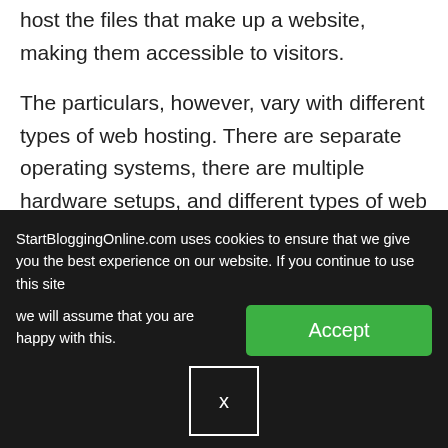host the files that make up a website, making them accessible to visitors.
The particulars, however, vary with different types of web hosting. There are separate operating systems, there are multiple hardware setups, and different types of web hosting services will offer a range of plans, each finely tuned to fit a specific kind of customer…
StartBloggingOnline.com uses cookies to ensure that we give you the best experience on our website. If you continue to use this site we will assume that you are happy with this.
Accept
x